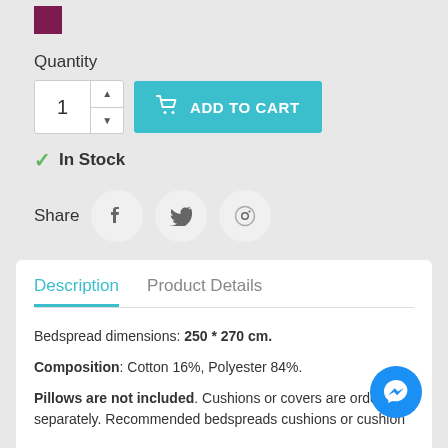[Figure (other): Purple/maroon color swatch square]
Quantity
[Figure (other): Quantity input box showing 1 with up/down arrows, and a teal ADD TO CART button with shopping cart icon]
✓ In Stock
Share (Facebook, Twitter, Pinterest social icons)
Description | Product Details
Bedspread dimensions: 250 * 270 cm.
Composition: Cotton 16%, Polyester 84%.
Pillows are not included. Cushions or covers are ordered separately. Recommended bedspreads cushions or cushion